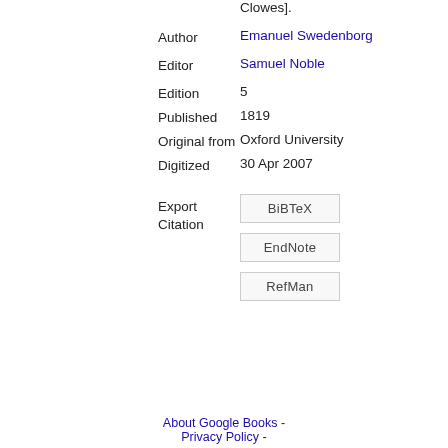|  | Clowes]. |
| Author | Emanuel Swedenborg |
| Editor | Samuel Noble |
| Edition | 5 |
| Published | 1819 |
| Original from | Oxford University |
| Digitized | 30 Apr 2007 |
Export Citation
BiBTeX
EndNote
RefMan
About Google Books - Privacy Policy -